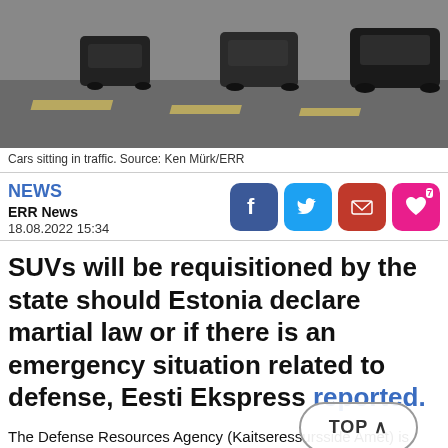[Figure (photo): Cars sitting in traffic viewed from above, showing a road with multiple dark-colored vehicles.]
Cars sitting in traffic. Source: Ken Mürk/ERR
NEWS
ERR News
18.08.2022 15:34
SUVs will be requisitioned by the state should Estonia declare martial law or if there is an emergency situation related to defense, Eesti Ekspress reported.
The Defense Resources Agency (Kaitseressursside Amet) is currently contacting luxury SUVs — such as Toyota Hilux, Land